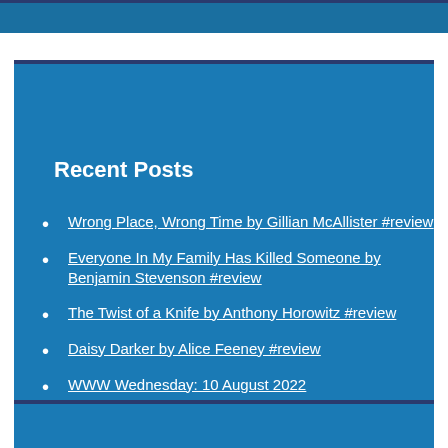Recent Posts
Wrong Place, Wrong Time by Gillian McAllister #review
Everyone In My Family Has Killed Someone by Benjamin Stevenson #review
The Twist of a Knife by Anthony Horowitz #review
Daisy Darker by Alice Feeney #review
WWW Wednesday: 10 August 2022
Categories